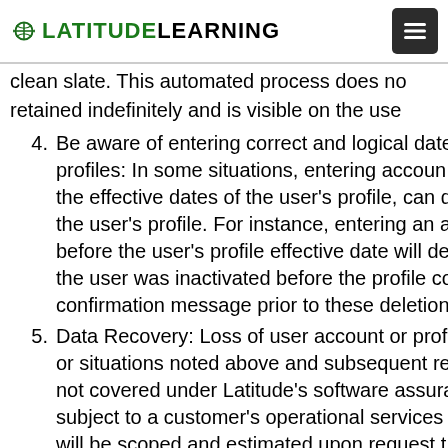LatitudeLearning
clean slate. This automated process does not retained indefinitely and is visible on the use
4. Be aware of entering correct and logical date profiles: In some situations, entering accoun the effective dates of the user's profile, can d the user's profile. For instance, entering an a before the user's profile effective date will de the user was inactivated before the profile co confirmation message prior to these deletion
5. Data Recovery: Loss of user account or prof or situations noted above and subsequent re not covered under Latitude's software assura subject to a customer's operational services will be scoped and estimated upon request t
6. Effect on Open Enrollments related to the En to terminate all open enrollments tied to the